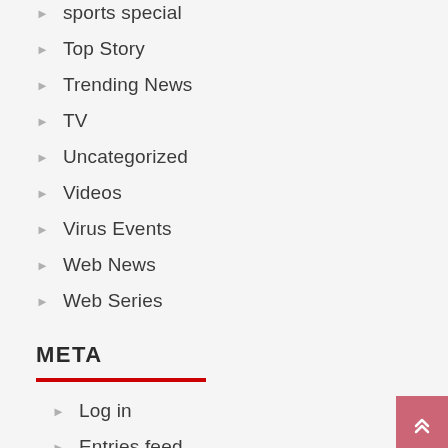sports special
Top Story
Trending News
TV
Uncategorized
Videos
Virus Events
Web News
Web Series
META
Log in
Entries feed